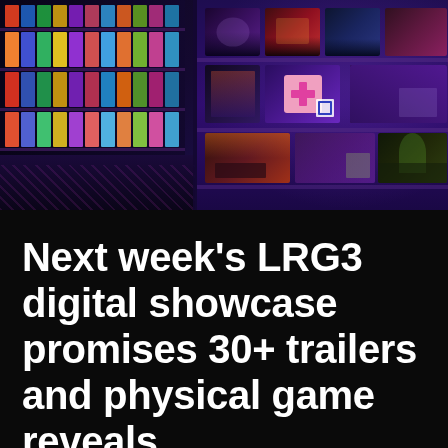[Figure (photo): Photo of a game store interior with shelves of physical game boxes, lit with purple/blue neon lighting. Left side shows wall-mounted shelves filled with colorful game cases. Right side shows a display wall with larger featured game art boxes arranged on shelves, illuminated with purple and blue LEDs.]
Next week's LRG3 digital showcase promises 30+ trailers and physical game reveals